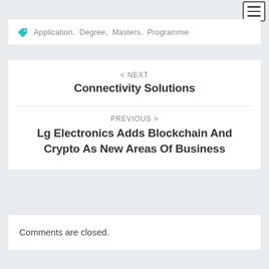Application, Degree, Masters, Programme
< NEXT
Connectivity Solutions
PREVIOUS >
Lg Electronics Adds Blockchain And Crypto As New Areas Of Business
Comments are closed.